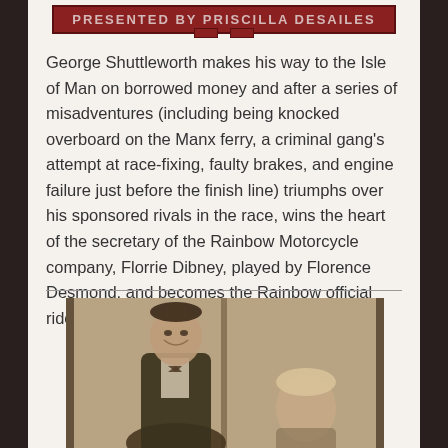Presented by Priscilla Desailes
George Shuttleworth makes his way to the Isle of Man on borrowed money and after a series of misadventures (including being knocked overboard on the Manx ferry, a criminal gang's attempt at race-fixing, faulty brakes, and engine failure just before the finish line) triumphs over his sponsored rivals in the race, wins the heart of the secretary of the Rainbow Motorcycle company, Florrie Dibney, played by Florence Desmond, and becomes the Rainbow official rider. (7)
[Figure (photo): Black and white photograph showing a smiling man in a suit with bow tie and a woman, vintage style portrait]